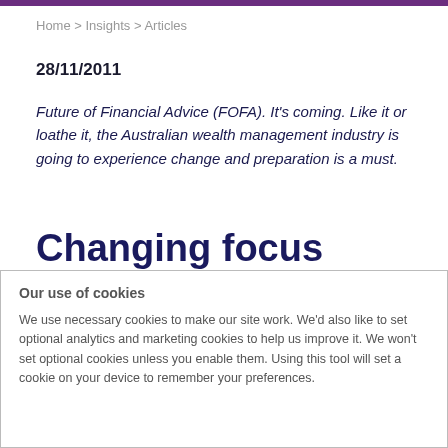Home > Insights > Articles
28/11/2011
Future of Financial Advice (FOFA). It's coming. Like it or loathe it, the Australian wealth management industry is going to experience change and preparation is a must.
Changing focus
The reforms will not only require providers to ensure that their adviser based systems can cater for the opt-in and
Our use of cookies
We use necessary cookies to make our site work. We'd also like to set optional analytics and marketing cookies to help us improve it. We won't set optional cookies unless you enable them. Using this tool will set a cookie on your device to remember your preferences.